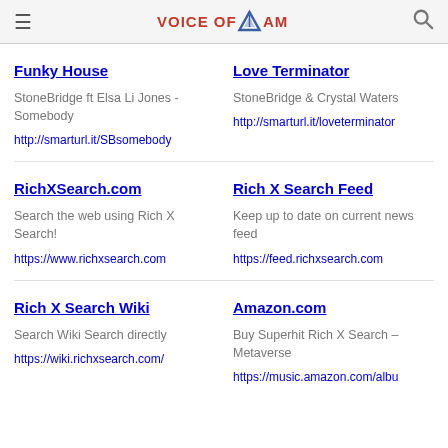Voice of America
Funky House
StoneBridge ft Elsa Li Jones - Somebody
http://smarturl.it/SBsomebody
Love Terminator
StoneBridge & Crystal Waters
http://smarturl.it/loveterminator
RichXSearch.com
Search the web using Rich X Search!
https://www.richxsearch.com
Rich X Search Feed
Keep up to date on current news feed
https://feed.richxsearch.com
Rich X Search Wiki
Search Wiki Search directly
https://wiki.richxsearch.com/
Amazon.com
Buy Superhit Rich X Search – Metaverse
https://music.amazon.com/albu